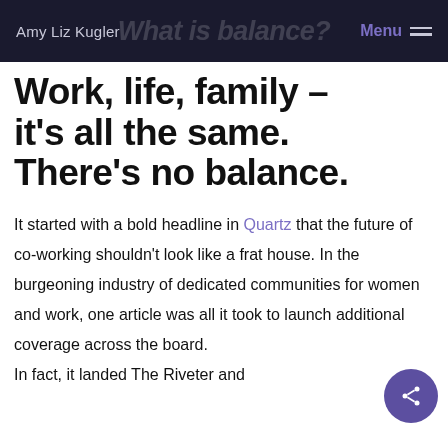Amy Liz Kugler | Menu
Work, life, family – it's all the same. There's no balance.
It started with a bold headline in Quartz that the future of co-working shouldn't look like a frat house. In the burgeoning industry of dedicated communities for women and work, one article was all it took to launch additional coverage across the board. In fact, it landed The Riveter and